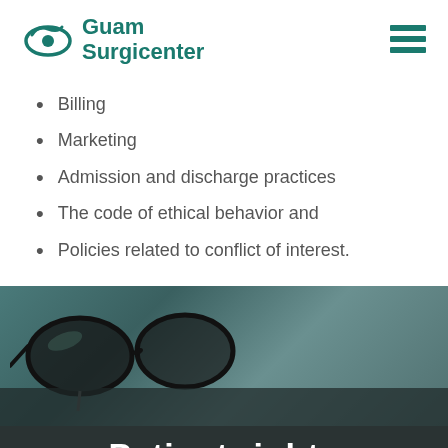Guam Surgicenter
Billing
Marketing
Admission and discharge practices
The code of ethical behavior and
Policies related to conflict of interest.
[Figure (photo): Blurred close-up photo of glasses resting on a teal/dark surface, with soft bokeh lighting]
Patient rights